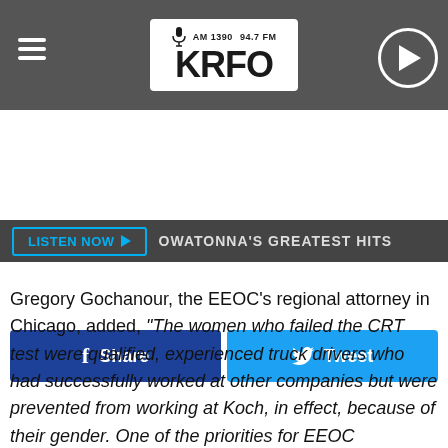[Figure (screenshot): KRFO AM 1390 94.7 FM radio station logo header with hamburger menu icon and play button]
LISTEN NOW ▶   OWATONNA'S GREATEST HITS
[Figure (screenshot): Facebook Share button and Twitter Tweet button]
Gregory Gochanour, the EEOC's regional attorney in Chicago, added, "The women who failed the CRT test were qualified, experienced truck drivers who had successfully worked at other companies but were prevented from working at Koch, in effect, because of their gender. One of the priorities for EEOC